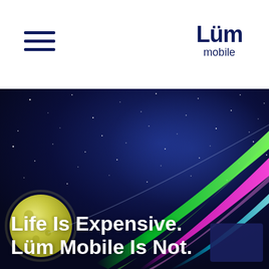[Figure (logo): Lüm mobile logo — bold dark navy text with umlaut on u, word mobile below]
[Figure (illustration): Dark night sky with stars and a yellow-green moon on the left. Colorful swooping comet/aurora streaks in green, magenta/purple, and cyan sweep from lower center to upper right across the starry background.]
Life Is Expensive. Lüm Mobile Is Not.